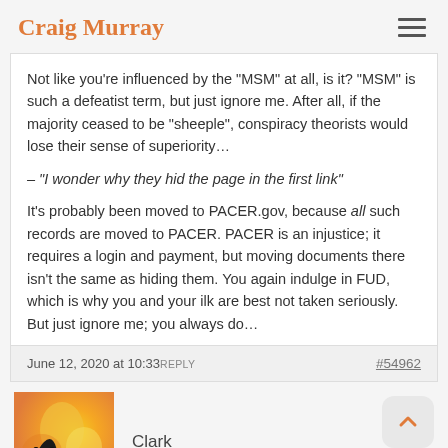Craig Murray
Not like you're influenced by the "MSM" at all, is it? "MSM" is such a defeatist term, but just ignore me. After all, if the majority ceased to be "sheeple", conspiracy theorists would lose their sense of superiority…
– "I wonder why they hid the page in the first link"
It's probably been moved to PACER.gov, because all such records are moved to PACER. PACER is an injustice; it requires a login and payment, but moving documents there isn't the same as hiding them. You again indulge in FUD, which is why you and your ilk are best not taken seriously. But just ignore me; you always do…
June 12, 2020 at 10:33 REPLY     #54962
Clark